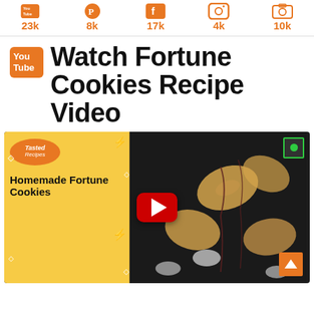[Figure (infographic): Social media follower counts: YouTube 23k, Facebook 17k, Instagram 4k, Pinterest 10k (partial icons visible at top)]
Watch Fortune Cookies Recipe Video
[Figure (screenshot): YouTube video thumbnail for 'Homemade Fortune Cookies' from Tasted Recipes channel, showing fortune cookies on dark background with chocolate drizzle and whipped cream. A red YouTube play button is overlaid in the center. Orange scroll-to-top button visible at bottom right.]